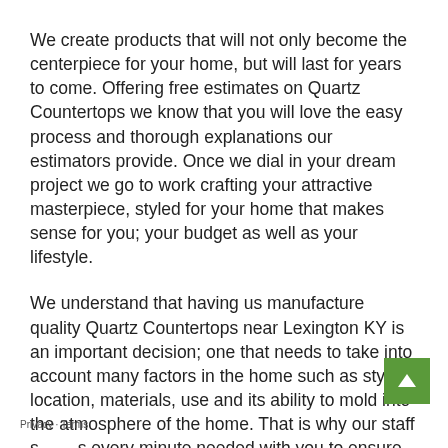We create products that will not only become the centerpiece for your home, but will last for years to come. Offering free estimates on Quartz Countertops we know that you will love the easy process and thorough explanations our estimators provide. Once we dial in your dream project we go to work crafting your attractive masterpiece, styled for your home that makes sense for you; your budget as well as your lifestyle.
We understand that having us manufacture quality Quartz Countertops near Lexington KY is an important decision; one that needs to take into account many factors in the home such as style, location, materials, use and its ability to mold into the atmosphere of the home. That is why our staff spends every minute needed with you to ensure all of your needs and wants are met; before the first cut is made